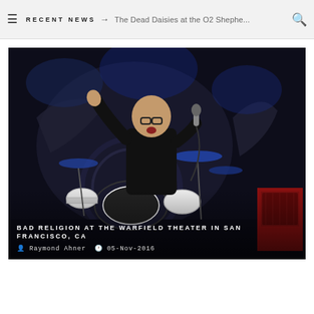≡  RECENT NEWS → The Dead Daisies at the O2 Shephe...  🔍
[Figure (photo): Concert photo of a bald male vocalist in black shirt singing into a microphone on stage at The Warfield Theater, with drum kit visible behind him and a decorative backdrop.]
BAD RELIGION AT THE WARFIELD THEATER IN SAN FRANCISCO, CA
Raymond Ahner   05-Nov-2016